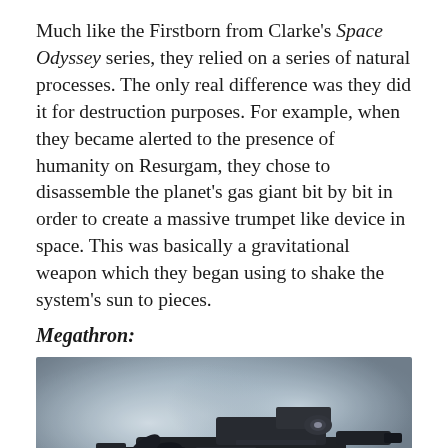Much like the Firstborn from Clarke's Space Odyssey series, they relied on a series of natural processes. The only real difference was they did it for destruction purposes. For example, when they became alerted to the presence of humanity on Resurgam, they chose to disassemble the planet's gas giant bit by bit in order to create a massive trumpet like device in space. This was basically a gravitational weapon which they began using to shake the system's sun to pieces.
Megathron:
[Figure (photo): A dark mechanical spacecraft or weapon model resembling the Megathron, against a blurred grey and blue background. The model is predominantly dark/black with detailed mechanical components.]